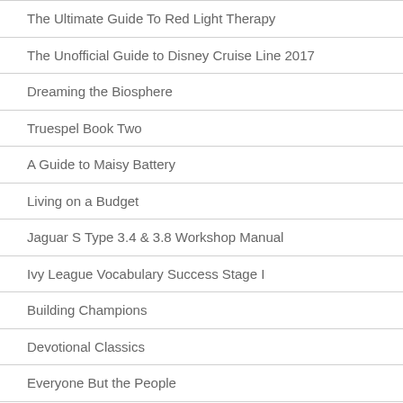The Ultimate Guide To Red Light Therapy
The Unofficial Guide to Disney Cruise Line 2017
Dreaming the Biosphere
Truespel Book Two
A Guide to Maisy Battery
Living on a Budget
Jaguar S Type 3.4 & 3.8 Workshop Manual
Ivy League Vocabulary Success Stage I
Building Champions
Devotional Classics
Everyone But the People
Anatomia de Los Animales Domesticos – Tomo I